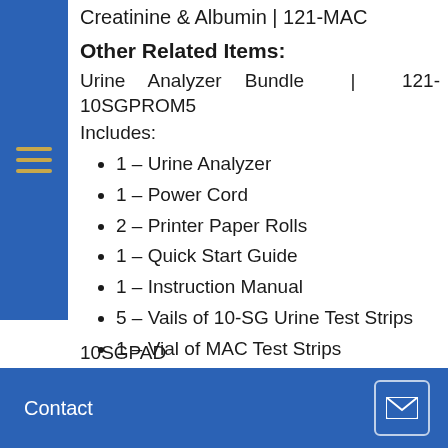Creatinine & Albumin | 121-MAC
Other Related Items:
Urine Analyzer Bundle | 121-10SGPROM5
Includes:
1 – Urine Analyzer
1 – Power Cord
2 – Printer Paper Rolls
1 – Quick Start Guide
1 – Instruction Manual
5 – Vails of 10-SG Urine Test Strips
1 – Vial of MAC Test Strips
Contact
10SGPAD